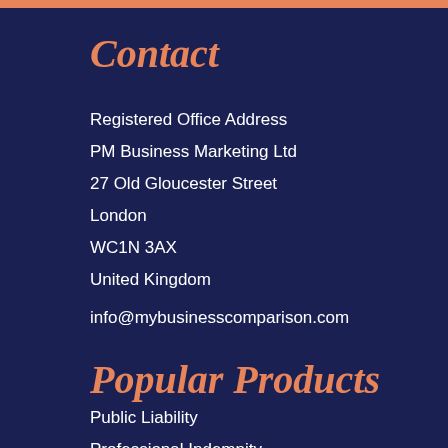Contact
Registered Office Address
PM Business Marketing Ltd
27 Old Gloucester Street
London
WC1N 3AX
United Kingdom
info@mybusinesscomparison.com
Popular Products
Public Liability
Professional Indemnity